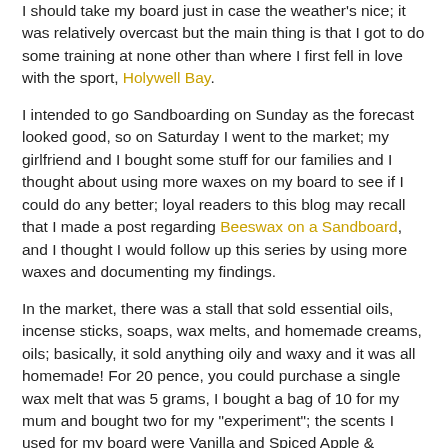I should take my board just in case the weather's nice; it was relatively overcast but the main thing is that I got to do some training at none other than where I first fell in love with the sport, Holywell Bay.
I intended to go Sandboarding on Sunday as the forecast looked good, so on Saturday I went to the market; my girlfriend and I bought some stuff for our families and I thought about using more waxes on my board to see if I could do any better; loyal readers to this blog may recall that I made a post regarding Beeswax on a Sandboard, and I thought I would follow up this series by using more waxes and documenting my findings.
In the market, there was a stall that sold essential oils, incense sticks, soaps, wax melts, and homemade creams, oils; basically, it sold anything oily and waxy and it was all homemade! For 20 pence, you could purchase a single wax melt that was 5 grams, I bought a bag of 10 for my mum and bought two for my "experiment"; the scents I used for my board were Vanilla and Spiced Apple & Cranberry.